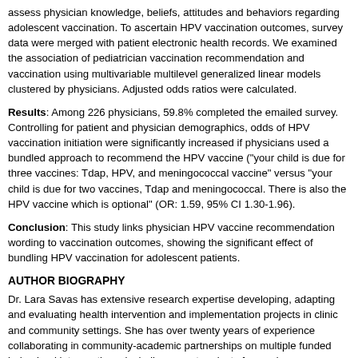assess physician knowledge, beliefs, attitudes and behaviors regarding adolescent vaccination. To ascertain HPV vaccination outcomes, survey data were merged with patient electronic health records. We examined the association of pediatrician vaccination recommendation and vaccination using multivariable multilevel generalized linear models clustered by physicians. Adjusted odds ratios were calculated.
Results: Among 226 physicians, 59.8% completed the emailed survey. Controlling for patient and physician demographics, odds of HPV vaccination initiation were significantly increased if physicians used a bundled approach to recommend the HPV vaccine ("your child is due for three vaccines: Tdap, HPV, and meningococcal vaccine" versus "your child is due for two vaccines, Tdap and meningococcal. There is also the HPV vaccine which is optional" (OR: 1.59, 95% CI 1.30-1.96).
Conclusion: This study links physician HPV vaccine recommendation wording to vaccination outcomes, showing the significant effect of bundling HPV vaccination for adolescent patients.
AUTHOR BIOGRAPHY
Dr. Lara Savas has extensive research expertise developing, adapting and evaluating health intervention and implementation projects in clinic and community settings. She has over twenty years of experience collaborating in community-academic partnerships on multiple funded behavioral interventions, including recent projects focused on cancer screening, smoking cessation, COVID-19 testing, and lay communication among underserved populations. Dr. Savas has been Co-PI on three CPRIT-funded multi-component intervention projects to increase HPV vaccination rates in clinics throughout Texas.